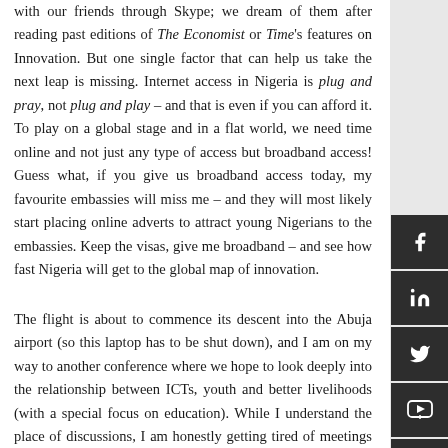with our friends through Skype; we dream of them after reading past editions of The Economist or Time's features on Innovation. But one single factor that can help us take the next leap is missing. Internet access in Nigeria is plug and pray, not plug and play – and that is even if you can afford it. To play on a global stage and in a flat world, we need time online and not just any type of access but broadband access! Guess what, if you give us broadband access today, my favourite embassies will miss me – and they will most likely start placing online adverts to attract young Nigerians to the embassies. Keep the visas, give me broadband – and see how fast Nigeria will get to the global map of innovation.
The flight is about to commence its descent into the Abuja airport (so this laptop has to be shut down), and I am on my way to another conference where we hope to look deeply into the relationship between ICTs, youth and better livelihoods (with a special focus on education). While I understand the place of discussions, I am honestly getting tired of meetings – I want broadband Internet